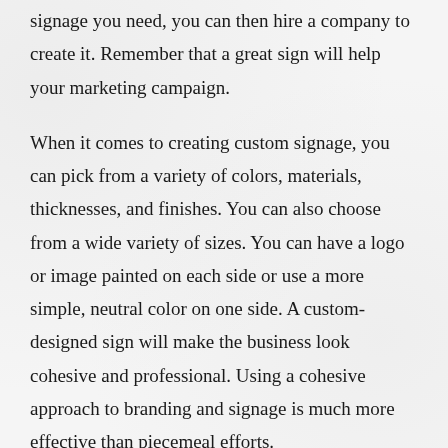signage you need, you can then hire a company to create it. Remember that a great sign will help your marketing campaign.
When it comes to creating custom signage, you can pick from a variety of colors, materials, thicknesses, and finishes. You can also choose from a wide variety of sizes. You can have a logo or image painted on each side or use a more simple, neutral color on one side. A custom-designed sign will make the business look cohesive and professional. Using a cohesive approach to branding and signage is much more effective than piecemeal efforts.
Colors are an important aspect of brand recognition. For example, without the font, the IBM logo would not be recognizable. You can choose from bold, high-